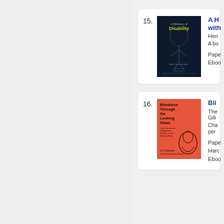[Figure (illustration): Book cover for 'A History of Disability' - dark navy background with ghostly anatomical figure illustration, title text in teal/yellow]
15. A H... with... Hen... A bo... Pape... Eboo...
[Figure (illustration): Book cover for 'Blindness Through the Looking Glass' - coral/red background with line drawing of a face, book details in dark text]
16. Bli... The... Gili... Cha... per... Pape... Harc... Eboo...